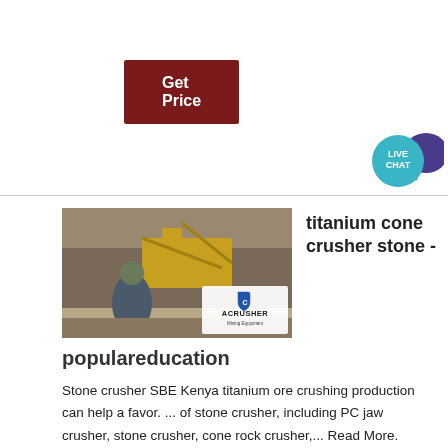Get Price
[Figure (illustration): Circular live chat widget with teal circle labeled LIVE CHAT and a dark purple speech bubble icon]
[Figure (photo): Photo of a mining/crushing facility with yellow equipment, rocky terrain, and a man in foreground wearing sunglasses. ACRUSHER Mining Equipment logo overlay in bottom right.]
titanium cone crusher stone -
populareducation
Stone crusher SBE Kenya titanium ore crushing production can help a favor. ... of stone crusher, including PC jaw crusher, stone crusher, cone rock crusher,... Read More. Crusher . A crusher is a machine designed to reduce large rocks into smaller rocks, gravel, or rock dust. ... The earliest